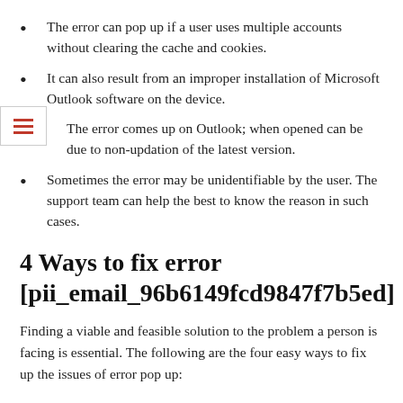The error can pop up if a user uses multiple accounts without clearing the cache and cookies.
It can also result from an improper installation of Microsoft Outlook software on the device.
The error comes up on Outlook; when opened can be due to non-updation of the latest version.
Sometimes the error may be unidentifiable by the user. The support team can help the best to know the reason in such cases.
4 Ways to fix error [pii_email_96b6149fcd9847f7b5ed]
Finding a viable and feasible solution to the problem a person is facing is essential. The following are the four easy ways to fix up the issues of error pop up: